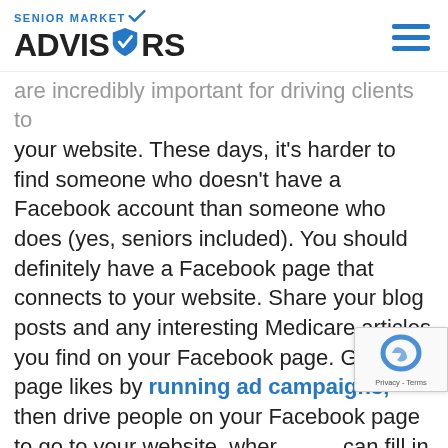SENIOR MARKET ADVISORS
are incredibly important for driving clients to your website. These days, it’s harder to find someone who doesn’t have a Facebook account than someone who does (yes, seniors included). You should definitely have a Facebook page that connects to your website. Share your blog posts and any interesting Medicare articles you find on your Facebook page. Gain page likes by running ad campaigns, then drive people on your Facebook page to go to your website, where they can fill in their contact information (if they choose to) and even give you permission to